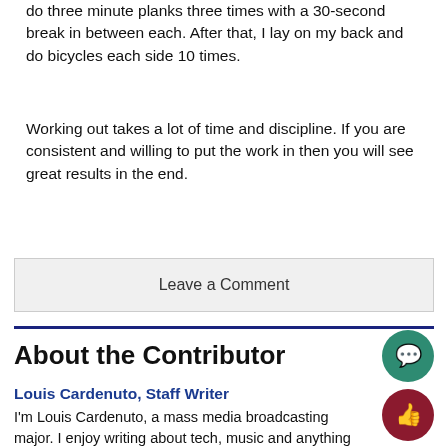do three minute planks three times with a 30-second break in between each. After that, I lay on my back and do bicycles each side 10 times.
Working out takes a lot of time and discipline. If you are consistent and willing to put the work in then you will see great results in the end.
Leave a Comment
About the Contributor
Louis Cardenuto, Staff Writer
I'm Louis Cardenuto, a mass media broadcasting major. I enjoy writing about tech, music and anything trending in the news. I hope you find my articles...